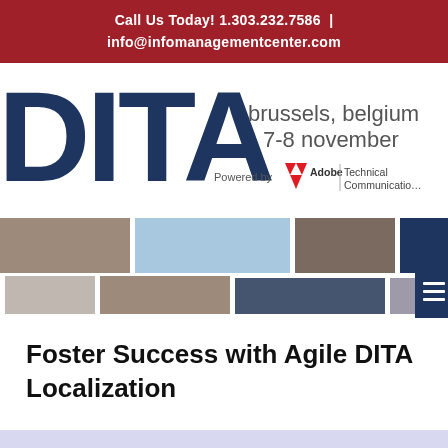Call Us Today! 1.303.232.7586 | info@infomanagementcenter.com
[Figure (logo): DITA conference logo with large 'DITA' text in dark blue, 'brussels, belgium 7-8 november' text, and 'Powered by Adobe Technical Communication' branding]
[Figure (infographic): Colorful mosaic/tile banner with squares in shades of brown, tan, light blue, dark blue, and a navy hamburger menu icon on the right]
Foster Success with Agile DITA Localization
We use cookies to monitor the traffic on this web site in order to provide the best experience possible. By continuing to use this site you are consenting to this practice. | Close | Decline